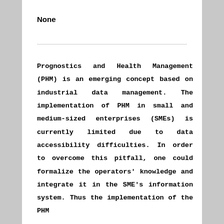None
Prognostics and Health Management (PHM) is an emerging concept based on industrial data management. The implementation of PHM in small and medium-sized enterprises (SMEs) is currently limited due to data accessibility difficulties. In order to overcome this pitfall, one could formalize the operators' knowledge and integrate it in the SME's information system. Thus the implementation of the PHM